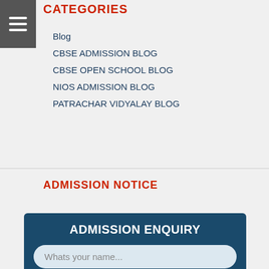CATEGORIES
Blog
CBSE ADMISSION BLOG
CBSE OPEN SCHOOL BLOG
NIOS ADMISSION BLOG
PATRACHAR VIDYALAY BLOG
ADMISSION NOTICE
ADMISSION ENQUIRY
Whats your name...
Whats your email...
Phone Number